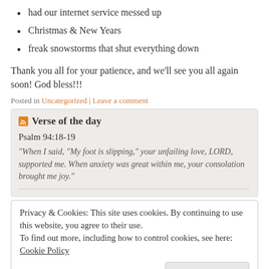had our internet service messed up
Christmas & New Years
freak snowstorms that shut everything down
Thank you all for your patience, and we'll see you all again soon! God bless!!!
Posted in Uncategorized | Leave a comment
Verse of the day
Psalm 94:18-19
"When I said, "My foot is slipping," your unfailing love, LORD, supported me. When anxiety was great within me, your consolation brought me joy."
Privacy & Cookies: This site uses cookies. By continuing to use this website, you agree to their use. To find out more, including how to control cookies, see here: Cookie Policy
Close and accept